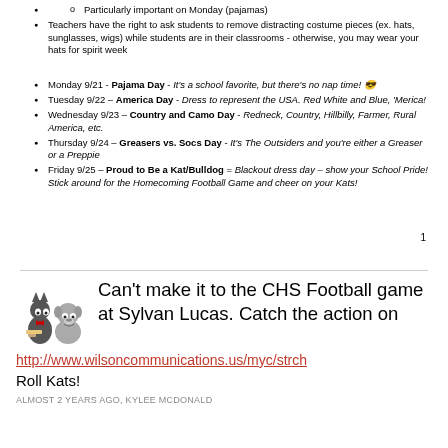Particularly important on Monday (pajamas)
Teachers have the right to ask students to remove distracting costume pieces (ex. hats, sunglasses, wigs) while students are in their classrooms - otherwise, you may wear your hats for spirit week
Monday 9/21 - Pajama Day - It's a school favorite, but there's no nap time! 😎
Tuesday 9/22 – America Day - Dress to represent the USA. Red White and Blue, 'Merica!
Wednesday 9/23 – Country and Camo Day - Redneck, Country, Hillbilly, Farmer, Rural America, etc.
Thursday 9/24 – Greasers vs. Socs Day - It's The Outsiders and you're either a Greaser or a Preppie
Friday 9/25 – Proud to Be a Kat/Bulldog = Blackout dress day – show your School Pride! Stick around for the Homecoming Football Game and cheer on your Kats!
1
[Figure (illustration): Cartoon mascot illustration of a wildcat and bulldog characters]
Can't make it to the CHS Football game at Sylvan Lucas. Catch the action on
http://www.wilsoncommunications.us/myc/strch
Roll Kats!
ALMOST 2 YEARS AGO, KYLEE MCDONALD